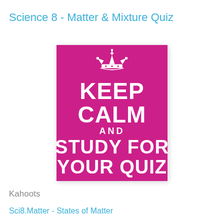Science 8 - Matter & Mixture Quiz
[Figure (illustration): Keep Calm and Study For Your Quiz poster with magenta/pink background, white crown icon at top, and white bold text reading KEEP CALM AND STUDY FOR YOUR QUIZ]
Kahoots
Sci8.Matter - States of Matter